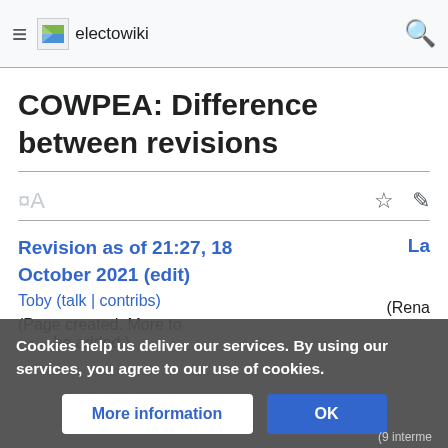electowiki
COWPEA: Difference between revisions
Revision as of 21:27, 18 October 2021 (edit)
Toby (talk | contribs)
(Page created. More to be added.)
Cookies help us deliver our services. By using our services, you agree to our use of cookies.